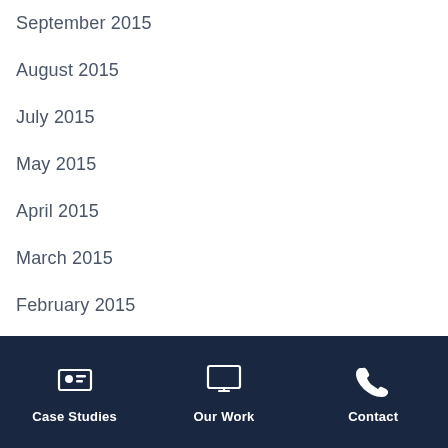September 2015
August 2015
July 2015
May 2015
April 2015
March 2015
February 2015
January 2015
December 2014
Case Studies  Our Work  Contact